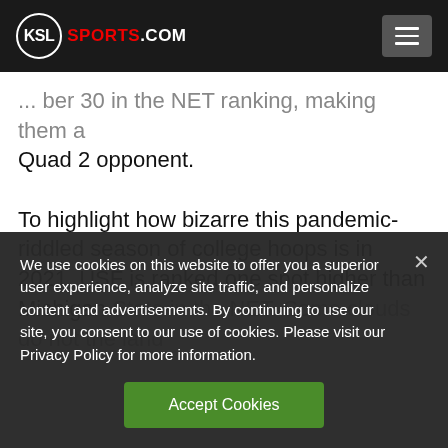KSL SPORTS.COM
...her 30 in the NET ranking, making them a Quad 2 opponent.
To highlight how bizarre this pandemic-riddled season of college hoops is in 2021, USF is ranked one spot higher than Michigan State in the NET. Some clouds do not the land...
We use cookies on this website to offer you a superior user experience, analyze site traffic, and personalize content and advertisements. By continuing to use our site, you consent to our use of cookies. Please visit our Privacy Policy for more information.
Accept Cookies